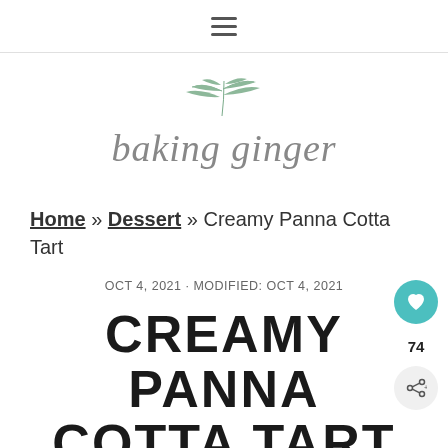≡ (hamburger menu icon)
[Figure (logo): baking ginger script logo with botanical leaf illustration above the text]
Home » Dessert » Creamy Panna Cotta Tart
OCT 4, 2021 · MODIFIED: OCT 4, 2021
CREAMY PANNA COTTA TART